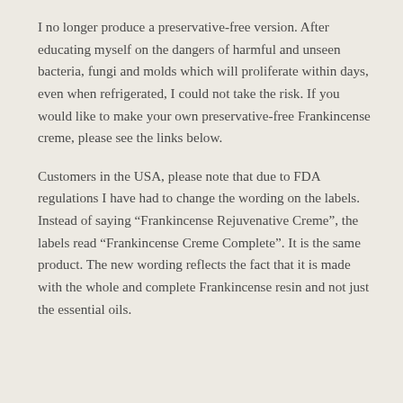I no longer produce a preservative-free version. After educating myself on the dangers of harmful and unseen bacteria, fungi and molds which will proliferate within days, even when refrigerated, I could not take the risk. If you would like to make your own preservative-free Frankincense creme, please see the links below.
Customers in the USA, please note that due to FDA regulations I have had to change the wording on the labels. Instead of saying “Frankincense Rejuvenative Creme”, the labels read “Frankincense Creme Complete”. It is the same product. The new wording reflects the fact that it is made with the whole and complete Frankincense resin and not just the essential oils.